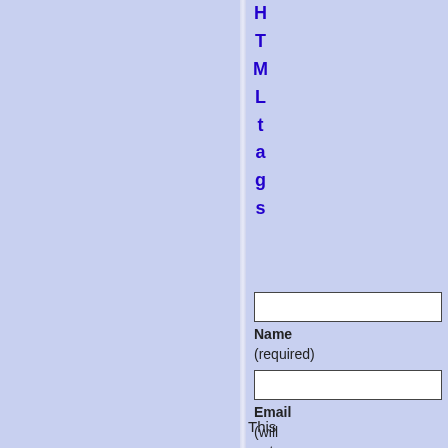HTMLtags (vertical)
[Figure (screenshot): A web form with Name (required), Email (will not be published) (required), and Website input fields, plus a Post Comment button]
This